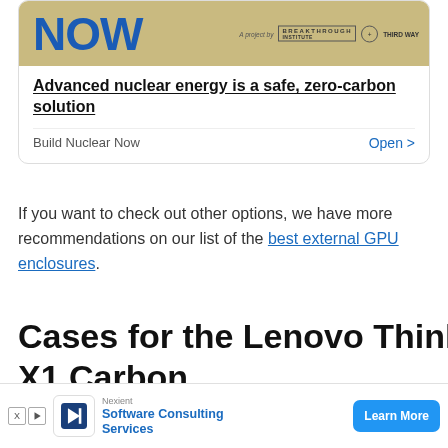[Figure (screenshot): Advertisement card with 'NOW' text in blue, Breakthrough Institute and Third Way logos, promoting 'Build Nuclear Now' campaign]
Advanced nuclear energy is a safe, zero-carbon solution
Build Nuclear Now    Open >
If you want to check out other options, we have more recommendations on our list of the best external GPU enclosures.
Cases for the Lenovo ThinkPad X1 Carbon
An expensive laptop like the ThinkPad X1 Carbon is something you’ll want to protect, and we have some perfect accessories to do just that. Putting your laptop in a nice case can make it easier to carry, keep it safe, and it can e
[Figure (screenshot): Black video overlay in bottom right corner with close button]
[Figure (screenshot): Bottom advertisement for Nexient Software Consulting Services with Learn More button]